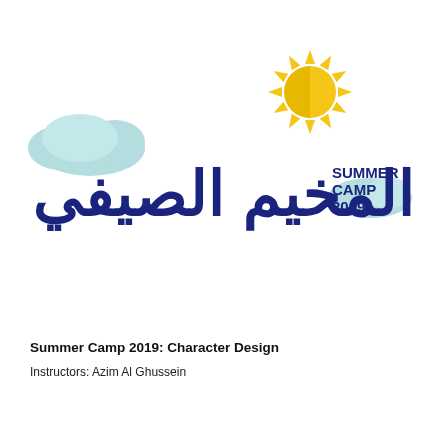[Figure (logo): Summer Camp 2019 logo with Arabic text (المخيم الصيفي), sun illustration with yellow and gold rays, teal/light-blue cloud illustrations, and 'SUMMER CAMP 2019' text in dark navy blue]
Summer Camp 2019: Character Design
Instructors: Azim Al Ghussein